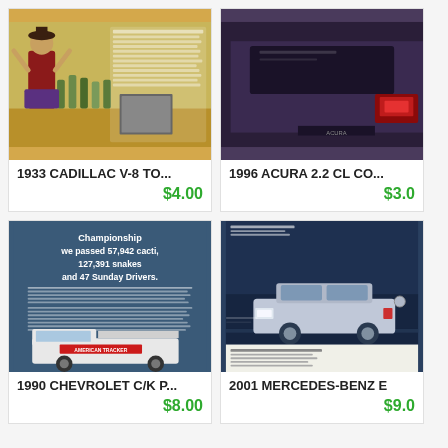[Figure (photo): 1933 Cadillac V-8 vintage advertisement showing a person in historical costume with arms raised]
1933 CADILLAC V-8 TO...
$4.00
[Figure (photo): 1996 Acura 2.2 CL advertisement showing rear of a dark colored car]
1996 ACURA 2.2 CL CO...
$3.0
[Figure (photo): 1990 Chevrolet C/K pickup truck advertisement with text 'we passed 57,942 cacti, 127,391 snakes and 47 Sunday Drivers.']
1990 CHEVROLET C/K P...
$8.00
[Figure (photo): 2001 Mercedes-Benz E advertisement showing a silver sedan in motion on a road]
2001 MERCEDES-BENZ E
$9.0